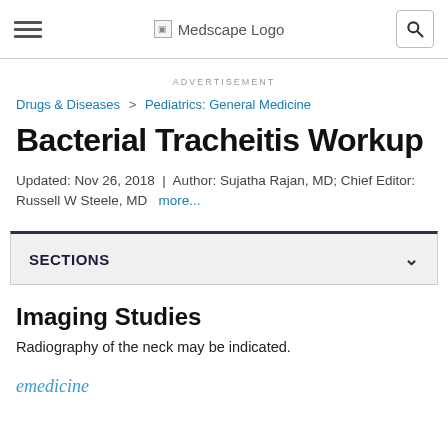≡  Medscape Logo  🔍
ADVERTISEMENT
Drugs & Diseases > Pediatrics: General Medicine
Bacterial Tracheitis Workup
Updated: Nov 26, 2018 | Author: Sujatha Rajan, MD; Chief Editor: Russell W Steele, MD  more...
SECTIONS
Imaging Studies
Radiography of the neck may be indicated.
emedicine